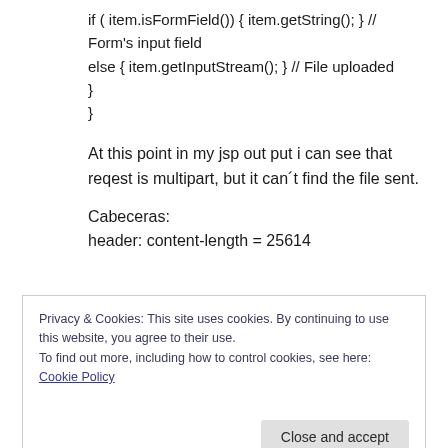if ( item.isFormField()) { item.getString(); } // Form's input field
else { item.getInputStream(); } // File uploaded
}
}
At this point in my jsp out put i can see that reqest is multipart, but it can´t find the file sent.
Cabeceras:
header: content-length = 25614
Privacy & Cookies: This site uses cookies. By continuing to use this website, you agree to their use.
To find out more, including how to control cookies, see here: Cookie Policy